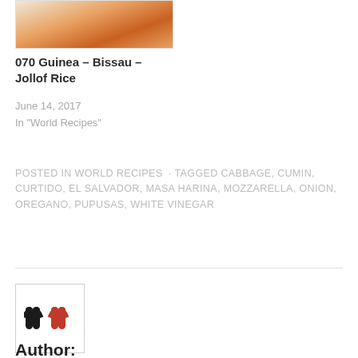[Figure (photo): Partial view of a plate of food, appears to be rice or a similar orange/golden dish on a white plate]
070 Guinea – Bissau – Jollof Rice
June 14, 2017
In "World Recipes"
POSTED IN WORLD RECIPES  · TAGGED CABBAGE, CUMIN, CURTIDO, EL SALVADOR, MASA HARINA, MOZZARELLA, ONION, OREGANO, PUPUSAS, WHITE VINEGAR
[Figure (logo): Logo with stylized 'mm' letters in dark/red color inside a square border]
Author: